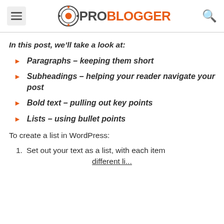ProBlogger
In this post, we’ll take a look at:
Paragraphs – keeping them short
Subheadings – helping your reader navigate your post
Bold text – pulling out key points
Lists – using bullet points
To create a list in WordPress:
Set out your text as a list, with each item different li...